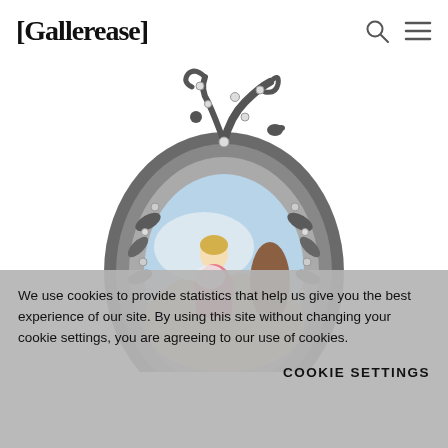[Gallerease]
[Figure (photo): A decorative antique pendant/locket with an ornate silver frame featuring floral and leaf motifs set with rose-cut diamonds, framing a miniature oval portrait painting of a young woman in a pink dress seated in a pastoral scene.]
We use cookies to provide statistics that help us give you the best experience of our site. By using this site without changing your cookie settings, you are agreeing to our use of cookies.
COOKIE SETTINGS